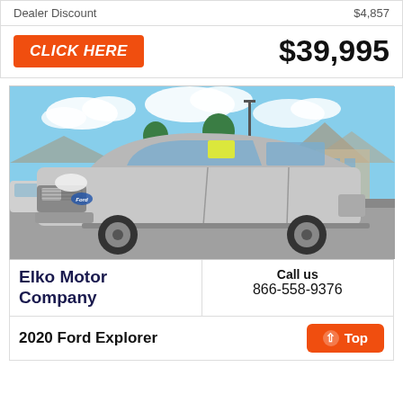Dealer Discount   $4,857
CLICK HERE   $39,995
[Figure (photo): Silver 2020 Ford Explorer SUV photographed in a dealer lot with blue sky and mountains in background]
Elko Motor Company
Call us 866-558-9376
2020 Ford Explorer
Top